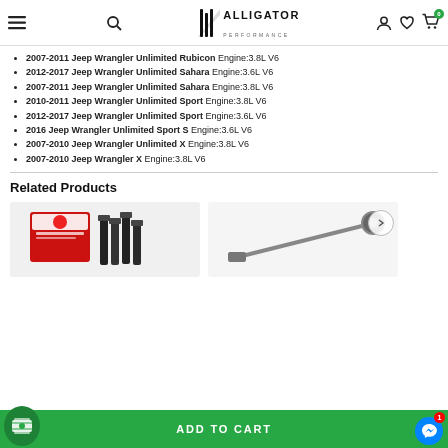Alligator Performance
2007-2011 Jeep Wrangler Unlimited Rubicon Engine:3.8L V6
2012-2017 Jeep Wrangler Unlimited Sahara Engine:3.6L V6
2007-2011 Jeep Wrangler Unlimited Sahara Engine:3.8L V6
2010-2011 Jeep Wrangler Unlimited Sport Engine:3.8L V6
2012-2017 Jeep Wrangler Unlimited Sport Engine:3.6L V6
2016 Jeep Wrangler Unlimited Sport S Engine:3.6L V6
2007-2010 Jeep Wrangler Unlimited X Engine:3.8L V6
2007-2010 Jeep Wrangler X Engine:3.8L V6
Related Products
[Figure (photo): Product images showing auto parts - spark plugs box and tie rod end]
[Figure (screenshot): Add to Cart button bar with cash icon and messenger button]